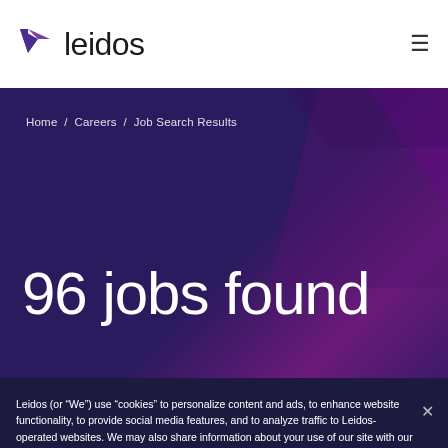leidos
Home / Careers / Job Search Results
96 jobs found
Leidos (or “We”) use “cookies” to personalize content and ads, to enhance website functionality, to provide social media features, and to analyze traffic to Leidos-operated websites. We may also share information about your use of our site with our social media, advertising, and analytics partners. To learn more, please review our Privacy Statement.